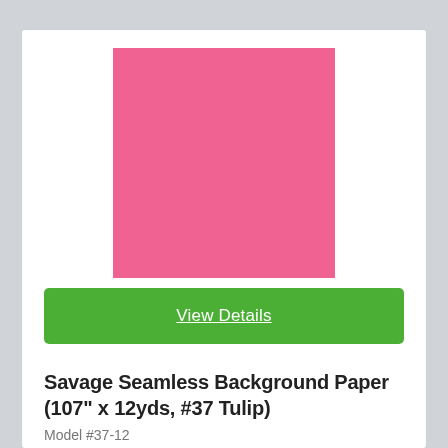[Figure (illustration): Pink/tulip colored solid square swatch representing the Savage Seamless Background Paper color #37 Tulip]
View Details
Savage Seamless Background Paper (107" x 12yds, #37 Tulip)
Model #37-12